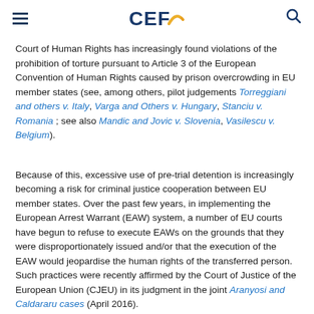CEF (logo)
Court of Human Rights has increasingly found violations of the prohibition of torture pursuant to Article 3 of the European Convention of Human Rights caused by prison overcrowding in EU member states (see, among others, pilot judgements Torreggiani and others v. Italy, Varga and Others v. Hungary, Stanciu v. Romania; see also Mandic and Jovic v. Slovenia, Vasilescu v. Belgium).
Because of this, excessive use of pre-trial detention is increasingly becoming a risk for criminal justice cooperation between EU member states. Over the past few years, in implementing the European Arrest Warrant (EAW) system, a number of EU courts have begun to refuse to execute EAWs on the grounds that they were disproportionately issued and/or that the execution of the EAW would jeopardise the human rights of the transferred person. Such practices were recently affirmed by the Court of Justice of the European Union (CJEU) in its judgment in the joint Aranyosi and Caldararu cases (April 2016).